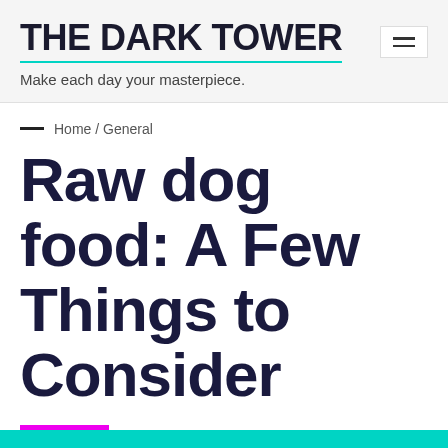THE DARK TOWER
Make each day your masterpiece.
Home / General
Raw dog food: A Few Things to Consider
General